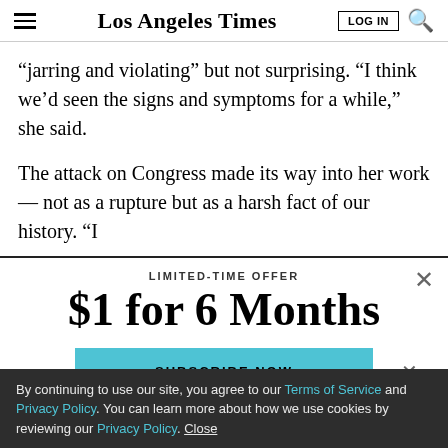Los Angeles Times — LOG IN | Search
“jarring and violating” but not surprising. “I think we’d seen the signs and symptoms for a while,” she said.
The attack on Congress made its way into her work — not as a rupture but as a harsh fact of our history. “I
LIMITED-TIME OFFER
$1 for 6 Months
SUBSCRIBE NOW
By continuing to use our site, you agree to our Terms of Service and Privacy Policy. You can learn more about how we use cookies by reviewing our Privacy Policy. Close